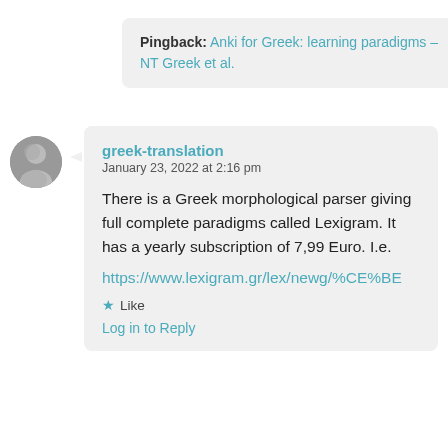Pingback: Anki for Greek: learning paradigms – NT Greek et al.
greek-translation
January 23, 2022 at 2:16 pm

There is a Greek morphological parser giving full complete paradigms called Lexigram. It has a yearly subscription of 7,99 Euro. I.e. https://www.lexigram.gr/lex/newg/%CE%BE

★ Like

Log in to Reply